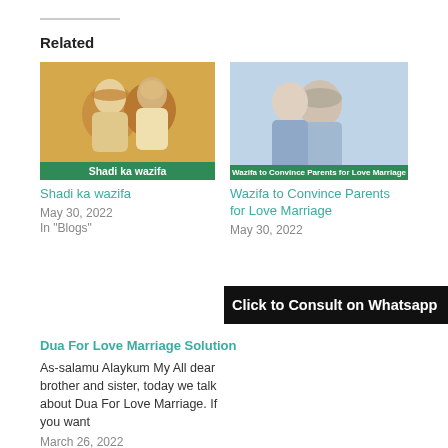Related
[Figure (photo): Thumbnail image for 'Shadi ka wazifa' showing an illustrated Muslim couple, with a green banner overlay reading 'Shadi ka wazifa']
Shadi ka wazifa
May 30, 2022
In "Blogs"
[Figure (photo): Thumbnail photo for 'Wazifa to Convince Parents for Love Marriage' showing a Muslim couple, with a green banner overlay reading 'Wazifa to Convince Parents for Love Marriage']
Wazifa to Convince Parents for Love Marriage
May 30, 2022
Click to Consult on Whatsapp
Dua For Love Marriage Solution
As-salamu Alaykum My All dear brother and sister, today we talk about Dua For Love Marriage. If you want
March 26, 2022
In "Blogs"